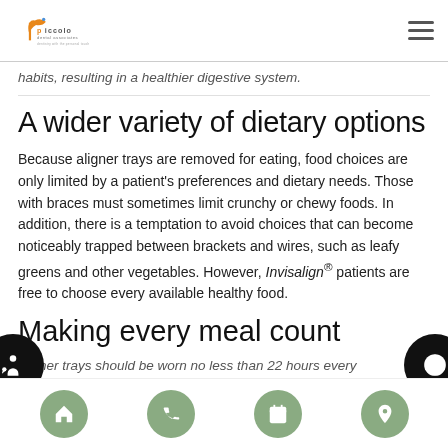Piccolo Dental Associates
habits, resulting in a healthier digestive system.
A wider variety of dietary options
Because aligner trays are removed for eating, food choices are only limited by a patient's preferences and dietary needs. Those with braces must sometimes limit crunchy or chewy foods. In addition, there is a temptation to avoid choices that can become noticeably trapped between brackets and wires, such as leafy greens and other vegetables. However, Invisalign® patients are free to choose every available healthy food.
Making every meal count
aligner trays should be worn no less than 22 hours every